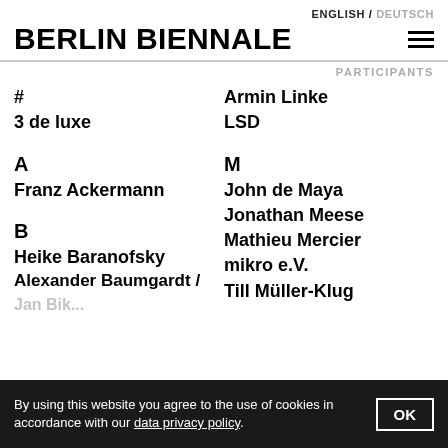ENGLISH / DEUTSCH
BERLIN BIENNALE
PARTICIPANTS
#
3 de luxe
Armin Linke
LSD
A
Franz Ackermann
M
John de Maya
Jonathan Meese
B
Mathieu Mercier
Heike Baranofsky
mikro e.V.
Alexander Baumgardt /
Till Müller-Klug
By using this website you agree to the use of cookies in accordance with our data privacy policy.